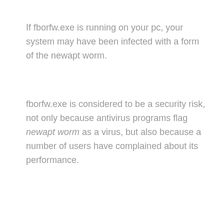If fborfw.exe is running on your pc, your system may have been infected with a form of the newapt worm.
fborfw.exe is considered to be a security risk, not only because antivirus programs flag newapt worm as a virus, but also because a number of users have complained about its performance.